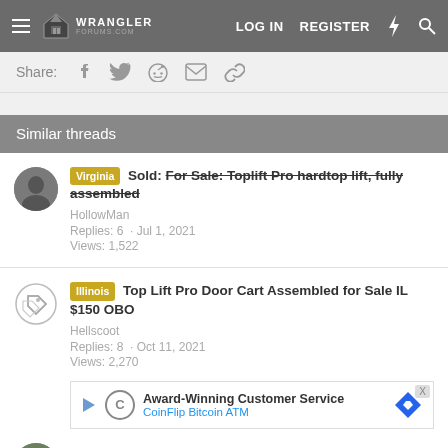Wrangler Forums - LOG IN  REGISTER
Share:
Similar threads
Virginia  Sold: For Sale: Toplift Pro hardtop lift, fully assembled
HollowMan
Replies: 6  · Jul 1, 2021
Views: 1,522
Illinois  Top Lift Pro Door Cart Assembled for Sale IL $150 OBO
Hellscoot
Replies: 8  · Oct 11, 2021
Views: 2,270
[Figure (screenshot): Advertisement banner: Award-Winning Customer Service - CoinFlip Bitcoin ATM]